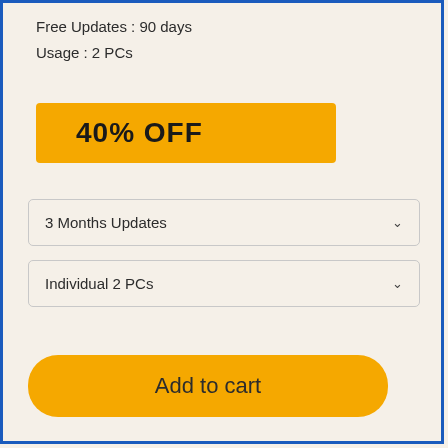Free Updates : 90 days
Usage : 2 PCs
40% OFF
3 Months Updates
Individual 2 PCs
Add to cart